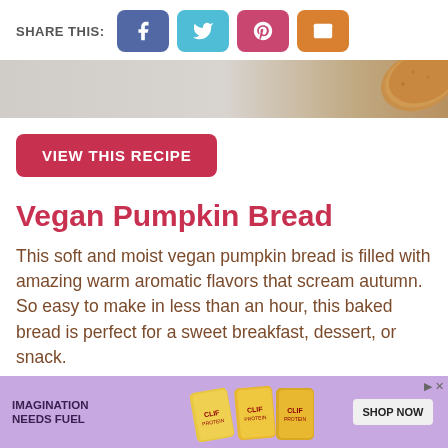SHARE THIS:
[Figure (infographic): Social share buttons: Facebook (blue-purple), Twitter (teal), Pinterest (pink-red), Email (orange)]
[Figure (photo): Partial hero image strip showing a light wood background and a pumpkin-colored cracker/bread in the upper right corner]
VIEW THIS RECIPE
Vegan Pumpkin Bread
This soft and moist vegan pumpkin bread is filled with amazing warm aromatic flavors that scream autumn. So easy to make in less than an hour, this baked bread is perfect for a sweet breakfast, dessert, or snack.
[Figure (infographic): Advertisement banner at bottom: purple background with 'IMAGINATION NEEDS FUEL' text, CLIF protein bar products, and 'SHOP NOW' button]